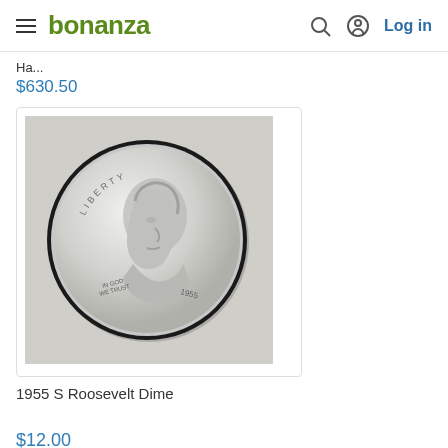bonanza — Log in
Ha...
$630.50
[Figure (photo): Close-up photo of a 1955 S Roosevelt Dime (silver coin) showing the obverse with Roosevelt's profile, LIBERTY text, IN GOD WE TRUST, and the year 1955 visible.]
1955 S Roosevelt Dime
$12.00
TOP RATED SELLER